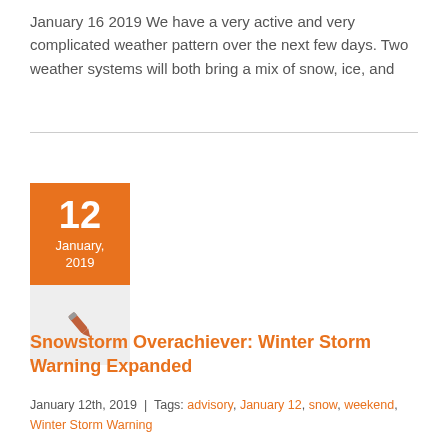January 16 2019 We have a very active and very complicated weather pattern over the next few days. Two weather systems will both bring a mix of snow, ice, and
[Figure (illustration): Orange calendar date block showing '12 January, 2019' with a pen/writing icon below on a light gray background]
Snowstorm Overachiever: Winter Storm Warning Expanded
January 12th, 2019  |  Tags: advisory, January 12, snow, weekend, Winter Storm Warning